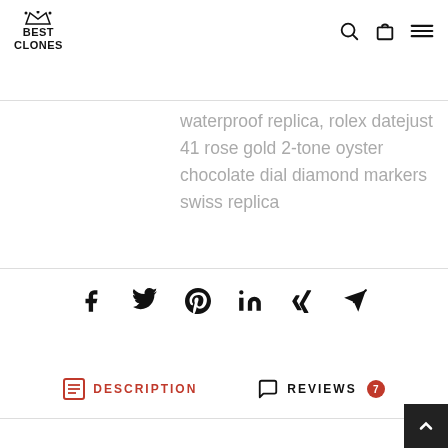BEST CLONES (logo with crown)
waterproof replica, rolex datejust 41 rose gold 2-tone oyster chocolate dial diamond markers swiss replica
[Figure (infographic): Social sharing icons row: Facebook, Twitter, Pinterest, LinkedIn, Xing, Email/Send]
DESCRIPTION  REVIEWS 7